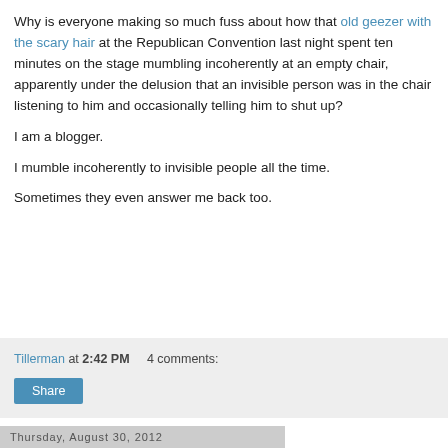Why is everyone making so much fuss about how that old geezer with the scary hair at the Republican Convention last night spent ten minutes on the stage mumbling incoherently at an empty chair, apparently under the delusion that an invisible person was in the chair listening to him and occasionally telling him to shut up?
I am a blogger.
I mumble incoherently to invisible people all the time.
Sometimes they even answer me back too.
Tillerman at 2:42 PM    4 comments:
Thursday, August 30, 2012